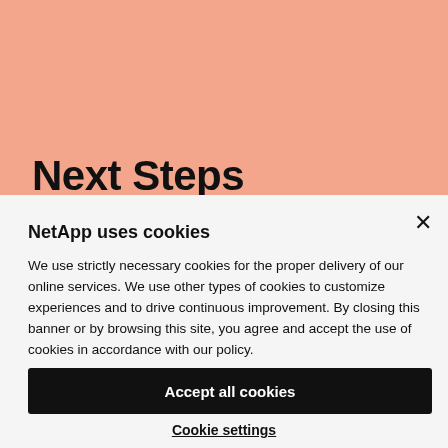[Figure (other): Salmon/peach colored background banner area]
Next Steps
NetApp uses cookies
We use strictly necessary cookies for the proper delivery of our online services. We use other types of cookies to customize experiences and to drive continuous improvement. By closing this banner or by browsing this site, you agree and accept the use of cookies in accordance with our policy.
Accept all cookies
Cookie settings